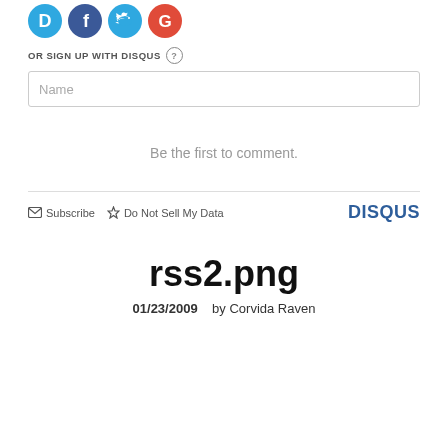[Figure (illustration): Social login icons: Disqus (blue circle with D), Facebook (dark blue circle with f), Twitter (light blue circle with bird), Google (red circle with G)]
OR SIGN UP WITH DISQUS ?
Name
Be the first to comment.
Subscribe  Do Not Sell My Data  DISQUS
rss2.png
01/23/2009    by Corvida Raven